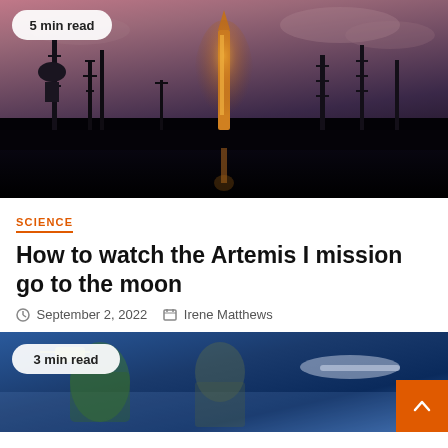[Figure (photo): Night photo of NASA Artemis I Space Launch System rocket on launch pad at Kennedy Space Center, illuminated orange against a purple-pink dusk sky, reflected in water below, with launch towers visible. Badge reads '5 min read'.]
5 min read
SCIENCE
How to watch the Artemis I mission go to the moon
September 2, 2022  Irene Matthews
[Figure (photo): Partial view of a second article image showing gaming characters and aircraft against a blue sky background. Badge reads '3 min read'.]
3 min read